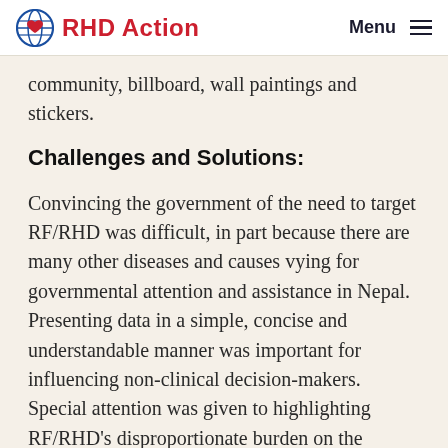RHD Action | Menu
community, billboard, wall paintings and stickers.
Challenges and Solutions:
Convincing the government of the need to target RF/RHD was difficult, in part because there are many other diseases and causes vying for governmental attention and assistance in Nepal. Presenting data in a simple, concise and understandable manner was important for influencing non-clinical decision-makers. Special attention was given to highlighting RF/RHD's disproportionate burden on the poorest sectors of Nepali society. Lobbying by the